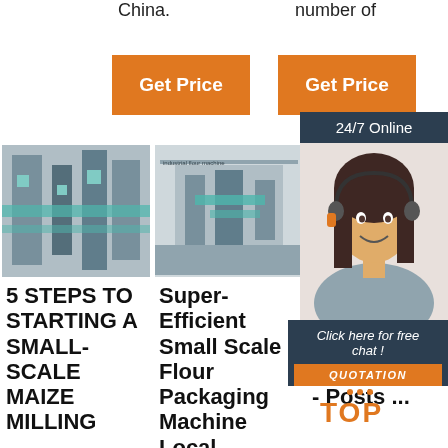China.
number of
[Figure (other): Orange 'Get Price' button]
[Figure (other): Orange 'Get Price' button]
24/7 Online
[Figure (photo): Industrial maize milling machine equipment photo]
[Figure (photo): Industrial flour packaging machine equipment photo]
[Figure (photo): Partial industrial equipment photo]
[Figure (photo): Customer service agent woman with headset smiling]
Click here for free chat !
QUOTATION
5 STEPS TO STARTING A SMALL-SCALE MAIZE MILLING
Super-Efficient Small Scale Flour Packaging Machine Local
Maize Wheat Milling Machine Manufacturer - Posts ...